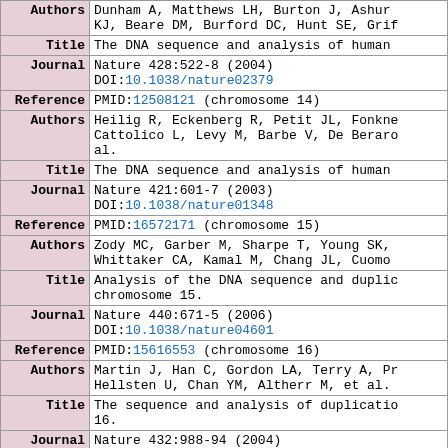| Field | Value |
| --- | --- |
| Authors | Dunham A, Matthews LH, Burton J, Ashurst KJ, Beare DM, Burford DC, Hunt SE, Grif... |
| Title | The DNA sequence and analysis of human... |
| Journal | Nature 428:522-8 (2004)
DOI:10.1038/nature02379 |
| Reference | PMID:12508121 (chromosome 14) |
| Authors | Heilig R, Eckenberg R, Petit JL, Fonkne... Cattolico L, Levy M, Barbe V, De Berard... al. |
| Title | The DNA sequence and analysis of human... |
| Journal | Nature 421:601-7 (2003)
DOI:10.1038/nature01348 |
| Reference | PMID:16572171 (chromosome 15) |
| Authors | Zody MC, Garber M, Sharpe T, Young SK,... Whittaker CA, Kamal M, Chang JL, Cuomo... |
| Title | Analysis of the DNA sequence and duplic... chromosome 15. |
| Journal | Nature 440:671-5 (2006)
DOI:10.1038/nature04601 |
| Reference | PMID:15616553 (chromosome 16) |
| Authors | Martin J, Han C, Gordon LA, Terry A, Pr... Hellsten U, Chan YM, Altherr M, et al. |
| Title | The sequence and analysis of duplicatio... 16. |
| Journal | Nature 432:988-94 (2004) |